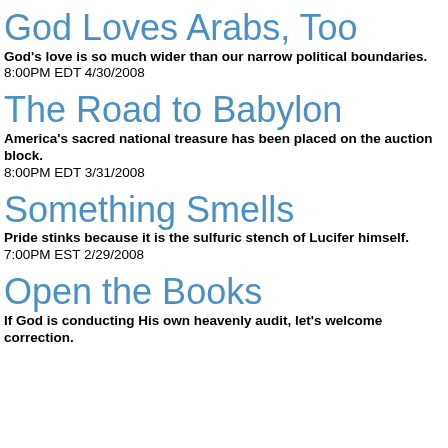God Loves Arabs, Too
God's love is so much wider than our narrow political boundaries.
8:00PM EDT 4/30/2008
The Road to Babylon
America's sacred national treasure has been placed on the auction block.
8:00PM EDT 3/31/2008
Something Smells
Pride stinks because it is the sulfuric stench of Lucifer himself.
7:00PM EST 2/29/2008
Open the Books
If God is conducting His own heavenly audit, let's welcome correction.